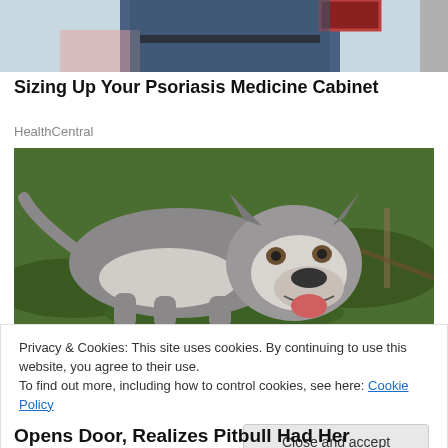[Figure (photo): Partial photo of a person sitting, showing jeans and a plaid shirt, cropped at the top of the page]
Sizing Up Your Psoriasis Medicine Cabinet
HealthCentral
[Figure (photo): A large grey and white pit bull dog standing on grass, looking at the camera with its mouth open]
Privacy & Cookies: This site uses cookies. By continuing to use this website, you agree to their use.
To find out more, including how to control cookies, see here: Cookie Policy
Opens Door, Realizes Pitbull Had Her